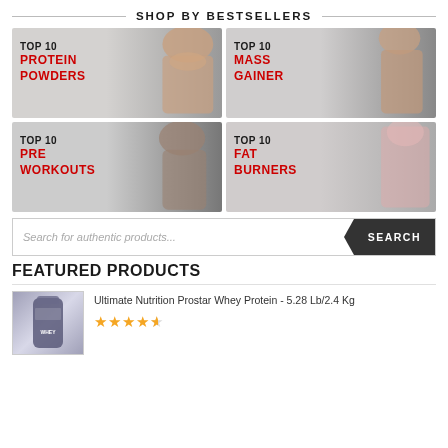SHOP BY BESTSELLERS
[Figure (illustration): Top 10 Protein Powders banner with muscular torso image]
[Figure (illustration): Top 10 Mass Gainer banner with athlete image]
[Figure (illustration): Top 10 Pre Workouts banner with athlete image]
[Figure (illustration): Top 10 Fat Burners banner with fitness model image]
Search for authentic products...
FEATURED PRODUCTS
Ultimate Nutrition Prostar Whey Protein - 5.28 Lb/2.4 Kg